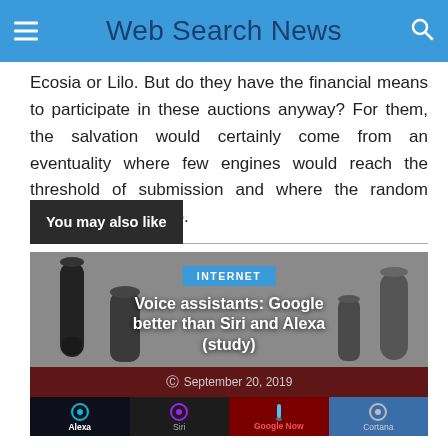Web Search News
Ecosia or Lilo. But do they have the financial means to participate in these auctions anyway? For them, the salvation would certainly come from an eventuality where few engines would reach the threshold of submission and where the random system would set up.
You may also like
[Figure (photo): Article card showing voice assistants (Amazon Echo, Google Home, etc.) with title 'Voice assistants: Google better than Siri and Alexa (study)', dated September 20, 2019, with icons for Alexa, Siri, Google Now, and Cortana at the bottom.]